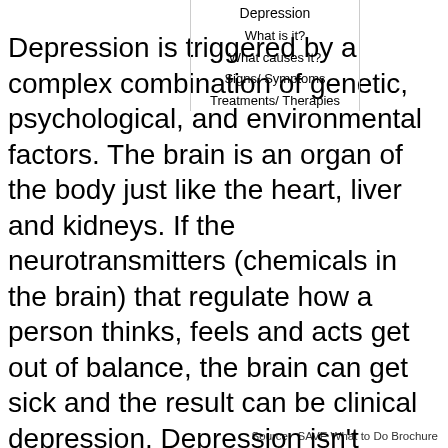[Figure (infographic): Navigation menu overlay with bordered panel listing: Depression, What is it?, What causes it?, Signs/ Symptoms, Treatments/ Therapies]
Depression is triggered by a complex combination of genetic, psychological, and environmental factors. The brain is an organ of the body just like the heart, liver and kidneys. If the neurotransmitters (chemicals in the brain) that regulate how a person thinks, feels and acts get out of balance, the brain can get sick and the result can be clinical depression. Depression isn't always genetic, it can be triggered by a traumatic event, loss or stress. It can also appear out of nowhere, when everything is going fine, at a time when there is no reason to be depressed. DEPRESSION IS NOTHING TO BE ASHAMED OF!
Source:  SAVE What to Do Brochure